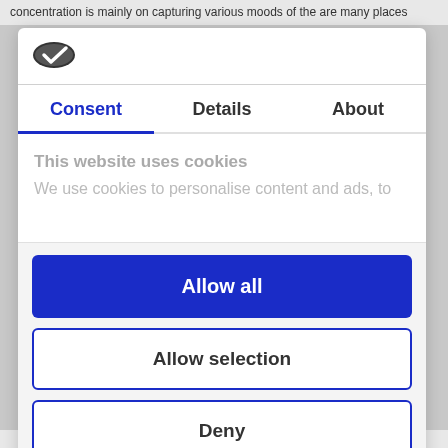concentration is mainly on capturing various moods of the are many places
[Figure (logo): Cookiebot logo — dark oval shape with white checkmark]
Consent | Details | About (tab navigation, Consent active)
This website uses cookies
We use cookies to personalise content and ads, to
Allow all
Allow selection
Deny
Powered by Cookiebot by Usercentrics
commercial photography, photography, photographer, stock pictures